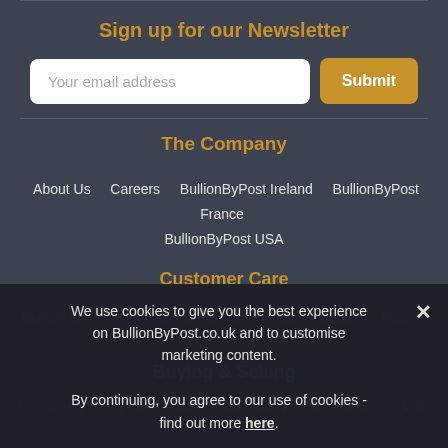Sign up for our Newsletter
Your email address [input field] Submit [button]
The Company
About Us   Careers   BullionByPost Ireland   BullionByPost France   BullionByPost USA
Customer Care
Contact Us   FAQs   Payment Options   Delivery Options   Returns & Exchanges
Buying & Selling
How to Buy   Buy Gold & Silver   Sell Gold & Silver   Storage   VAT-
We use cookies to give you the best experience on BullionByPost.co.uk and to customise marketing content. By continuing, you agree to our use of cookies - find out more here.